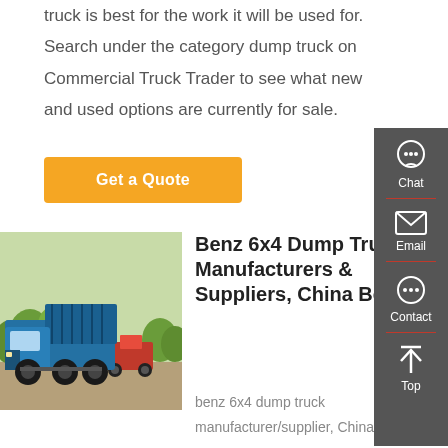truck is best for the work it will be used for. Search under the category dump truck on Commercial Truck Trader to see what new and used options are currently for sale.
Get a Quote
[Figure (photo): Blue Benz 6x4 dump truck parked outdoors with trees in background]
Benz 6x4 Dump Truck Manufacturers & Suppliers, China Benz
benz 6x4 dump truck manufacturer/supplier, China